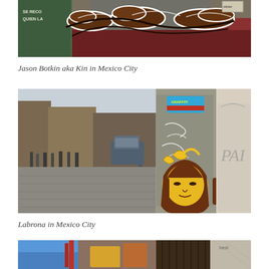[Figure (photo): Street art / graffiti on a wall in Mexico City by Jason Botkin aka Kin. Brown painted shoe/figure shapes with white outlines on a weathered red and grey wall. Text 'SE RECO... QUIEN LA...' visible on left side.]
Jason Botkin aka Kin in Mexico City
[Figure (photo): Street scene in Mexico City. Left half shows a cobblestone street with pedestrians and a vehicle. Right half shows a metal utility box covered in graffiti and a large stencil of a yellow/brown face with dark hair. 'PAI' text visible on right edge.]
Labrona in Mexico City
[Figure (photo): Colorful street scene in Mexico City showing blue and red painted buildings with graffiti art, and a wooden fence/doorway on the right. Partially cropped at bottom of page.]